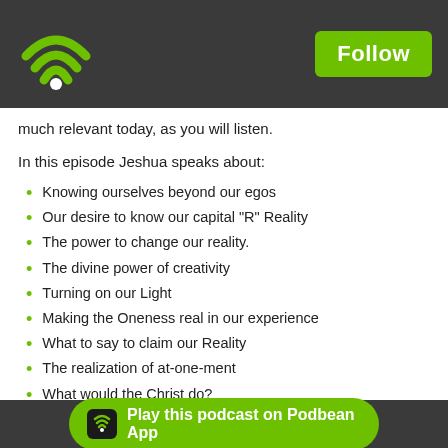Follow
much relevant today, as you will listen.
In this episode Jeshua speaks about:
Knowing ourselves beyond our egos
Our desire to know our capital "R" Reality
The power to change our reality.
The divine power of creativity
Turning on our Light
Making the Oneness real in our experience
What to say to claim our Reality
The realization of at-one-ment
What would the Christ do?
The final choice is ours
Getting drawn into the drama
The voices that are calling out for change
The realization of Power
Our representatives
The "Am... ...dream"
What...
Not being powerless
Play this podcast on Podbean App